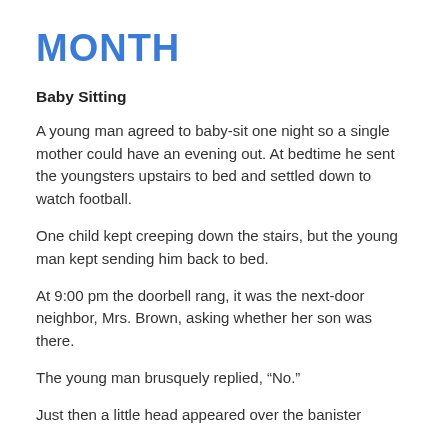MONTH
Baby Sitting
A young man agreed to baby-sit one night so a single mother could have an evening out. At bedtime he sent the youngsters upstairs to bed and settled down to watch football.
One child kept creeping down the stairs, but the young man kept sending him back to bed.
At 9:00 pm the doorbell rang, it was the next-door neighbor, Mrs. Brown, asking whether her son was there.
The young man brusquely replied, “No.”
Just then a little head appeared over the banister